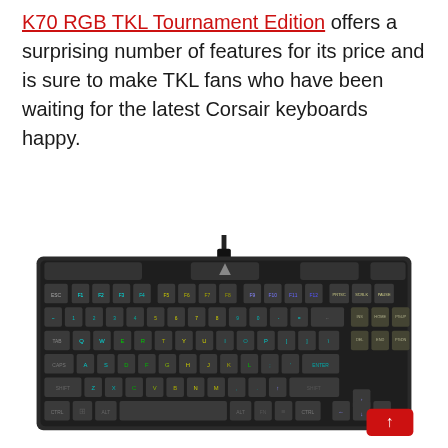K70 RGB TKL Tournament Edition offers a surprising number of features for its price and is sure to make TKL fans who have been waiting for the latest Corsair keyboards happy.
[Figure (photo): Photo of the Corsair K70 RGB TKL Tournament Edition mechanical keyboard with RGB backlighting, shown from above at a slight angle. A USB cable extends from the top center of the keyboard. A red scroll-to-top button is visible in the bottom-right corner of the image.]